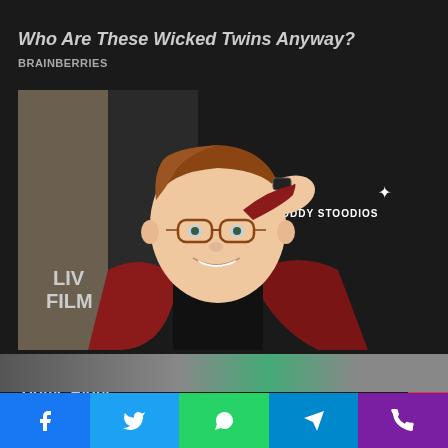Who Are These Wicked Twins Anyway?
BRAINBERRIES
[Figure (photo): A young man with auburn hair and tortoiseshell glasses wearing a dark shirt and burgundy/crimson blazer, raising his hand to his forehead as if shielding his eyes, standing in front of a 'Stoopid Buddy Stoodios' backdrop at what appears to be a film event.]
Macaulay Culkin's Own Version Of The New 'Home Alone'
BRAINBERRIES